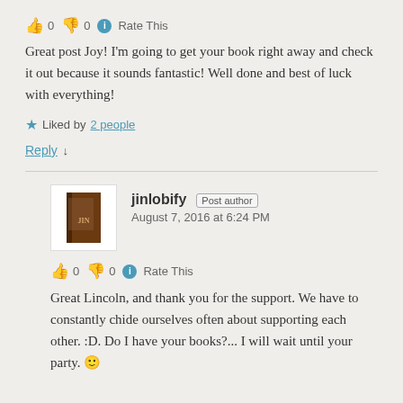👍 0 👎 0 ℹ Rate This
Great post Joy! I'm going to get your book right away and check it out because it sounds fantastic! Well done and best of luck with everything!
★ Liked by 2 people
Reply ↓
jinlobify Post author
August 7, 2016 at 6:24 PM
👍 0 👎 0 ℹ Rate This
Great Lincoln, and thank you for the support. We have to constantly chide ourselves often about supporting each other. :D. Do I have your books?... I will wait until your party. 🙂